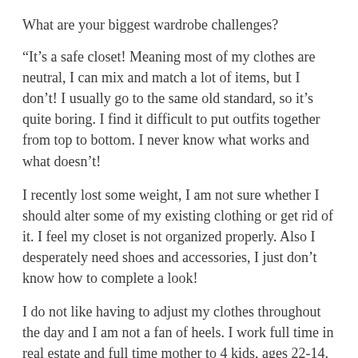What are your biggest wardrobe challenges?
“It’s a safe closet! Meaning most of my clothes are neutral, I can mix and match a lot of items, but I don’t! I usually go to the same old standard, so it’s quite boring. I find it difficult to put outfits together from top to bottom. I never know what works and what doesn’t!
I recently lost some weight, I am not sure whether I should alter some of my existing clothing or get rid of it. I feel my closet is not organized properly. Also I desperately need shoes and accessories, I just don’t know how to complete a look!
I do not like having to adjust my clothes throughout the day and I am not a fan of heels. I work full time in real estate and full time mother to 4 kids, ages 22-14. When I am not working I’m cleaning and organizing and cooking so I usually change my clothes when I’m in the house, and if I have to go out to work in the evening I am changing back